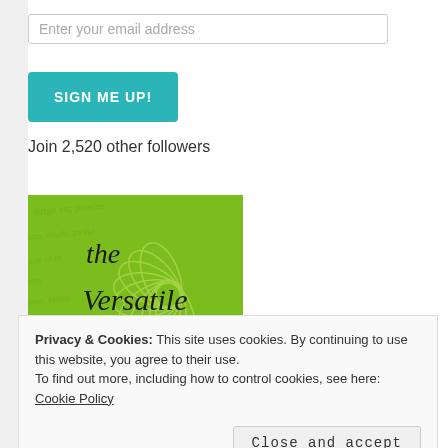Enter your email address
SIGN ME UP!
Join 2,520 other followers
[Figure (illustration): Green square badge with handwritten-style cursive text reading 'the Versatile Blogger' with a lotus flower watermark design on a green textured background with script watermark text]
Privacy & Cookies: This site uses cookies. By continuing to use this website, you agree to their use.
To find out more, including how to control cookies, see here: Cookie Policy
Close and accept